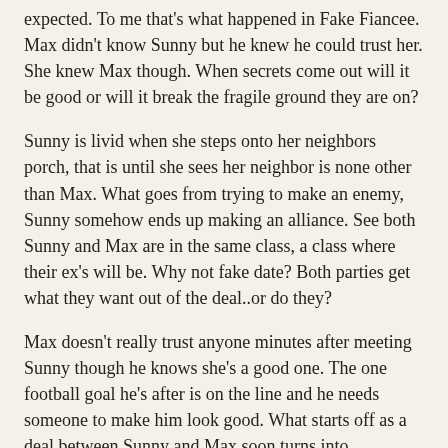expected. To me that's what happened in Fake Fiancee. Max didn't know Sunny but he knew he could trust her. She knew Max though. When secrets come out will it be good or will it break the fragile ground they are on?
Sunny is livid when she steps onto her neighbors porch, that is until she sees her neighbor is none other than Max. What goes from trying to make an enemy, Sunny somehow ends up making an alliance. See both Sunny and Max are in the same class, a class where their ex's will be. Why not fake date? Both parties get what they want out of the deal..or do they?
Max doesn't really trust anyone minutes after meeting Sunny though he knows she's a good one. The one football goal he's after is on the line and he needs someone to make him look good. What starts off as a deal between Sunny and Max soon turns into something real. Only question is will they make it after the season ends?
I know this review isn't doing the book any justice. There is no way to describe the story yet not give it away, and where's the fun in that? Fake Fiancée is full of twists, turns, and witty banter. Max